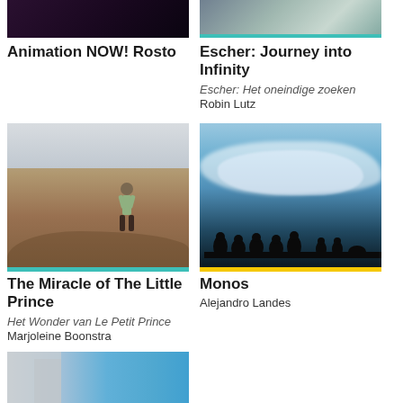[Figure (photo): Dark/purple toned film still — Animation NOW! Rosto]
[Figure (photo): Aerial map/architectural drawing teal-bordered — Escher: Journey into Infinity]
Animation NOW! Rosto
Escher: Journey into Infinity
Escher: Het oneindige zoeken
Robin Lutz
[Figure (photo): Child standing on rocky desert landscape]
[Figure (photo): Silhouettes of people on ridge with clouds and blue sky — Monos]
The Miracle of The Little Prince
Het Wonder van Le Petit Prince
Marjoleine Boonstra
Monos
Alejandro Landes
[Figure (photo): Partial image of building and blue sky at bottom]